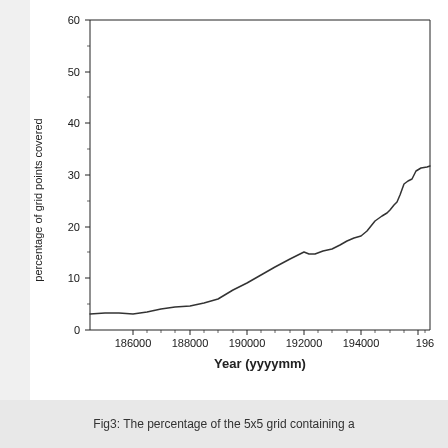[Figure (continuous-plot): Line chart showing percentage of 5x5 grid points covered over time from approximately 1860 to 1960 (in yyyymm format). The line starts around 3% at 186000, gradually rises to about 15% by 192000, dips slightly, then increases more steeply to about 31% by 196000.]
Fig3: The percentage of the 5x5 grid containing a